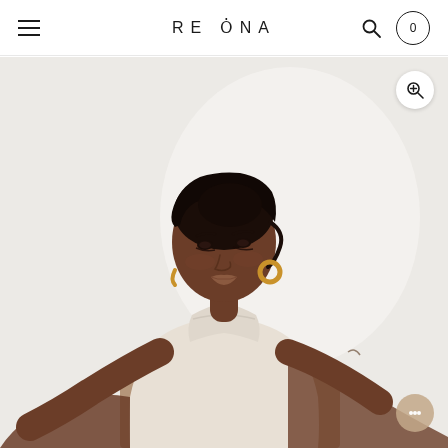RE ONA — Navigation header with hamburger menu, logo, search icon, and cart (0)
[Figure (photo): Fashion product photo: a Black woman with dark hair pulled back, wearing gold hoop earrings and a cream/off-white sleeveless turtleneck bodysuit. She poses against a white/light grey background with tan trousers partially visible at the bottom. The photo is a close-up portrait-style product shot.]